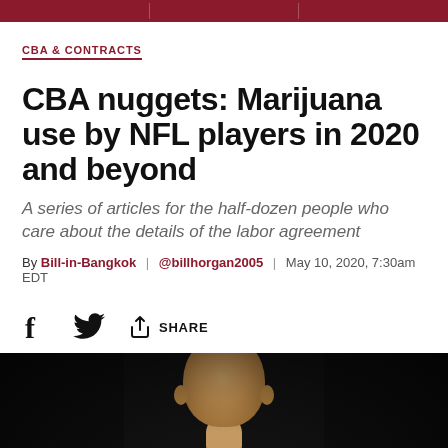CBA & CONTRACTS
CBA nuggets: Marijuana use by NFL players in 2020 and beyond
A series of articles for the half-dozen people who care about the details of the labor agreement
By Bill-in-Bangkok | @billhorgan2005 | May 10, 2020, 7:30am EDT
[Figure (other): Social sharing icons: Facebook, Twitter, and Share button]
[Figure (photo): Photo of a man (likely NFL commissioner Roger Goodell) against a dark background, showing face and upper body]